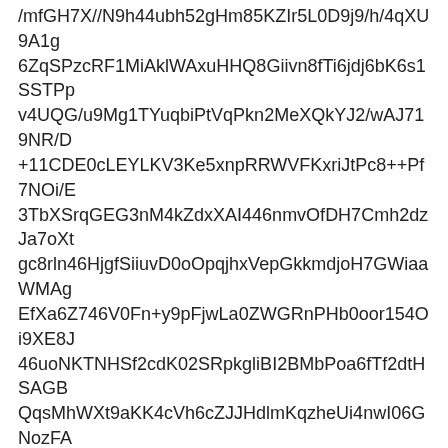/mfGH7X//N9h44ubh52gHm85KZIr5L0D9j9/h/4qXU9A1g6ZqSPzcRF1MiAklWAxuHHQ8Giivn8fTi6jdj6bK6s1SSTPpv4UQG/u9Mg1TYuqbiPtVqPkn2MeXQkYJ2/wAJ719NR/D+11CDE0cLEYLKV3Ke5xnpRRWVFKxriJtPc8++Pf7NOi/E3TbXSrqGEG3nM4kZdxXAI446nmvOfDH7Cmh2dzJa7oXtgc8rln46HjgfSiiuvD0oOpqjhxVepGkkmdjoH7GWiaaWMAgEfXa6Z746V0Fn+y9pFjwLa0ZWGRnPHb0oor154Oi9XE8J46uoNKTNHSf2cdK02SRpkgliBI2BMbPoa6fTf2dtHSAGBQqsMhWXt9aKK4cVh6cZJJHdlmKqzheUi4nwI06GNozFAwzjkZ/pV/Rfg/ZWBBihgUMMDk5/lRRXE6cVsj14VZtpNll/hlb3EgV1h9Omeg6Uy3+GVnuER2lM7SNuBxRRVckXfQvnd7XOj0Twxa6aFSGGONV44HNdTdwm1094YwqkrtXsPxooojFJaGcG+doxV09bdA/mP8/aiiiqPRhsf//Z">
[/html]
This code will result in this:
[Figure (photo): Broken image placeholder with label: Kristofer Källsbo aka Hackviking]